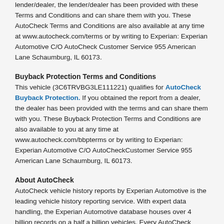lender/dealer, the lender/dealer has been provided with these Terms and Conditions and can share them with you. These AutoCheck Terms and Conditions are also available at any time at www.autocheck.com/terms or by writing to Experian: Experian Automotive C/O AutoCheck Customer Service 955 American Lane Schaumburg, IL 60173.
Buyback Protection Terms and Conditions
This vehicle (3C6TRVBG3LE111221) qualifies for AutoCheck Buyback Protection. If you obtained the report from a dealer, the dealer has been provided with the terms and can share them with you. These Buyback Protection Terms and Conditions are also available to you at any time at www.autocheck.com/bbpterms or by writing to Experian: Experian Automotive C/O AutoCheckCustomer Service 955 American Lane Schaumburg, IL 60173.
About AutoCheck
AutoCheck vehicle history reports by Experian Automotive is the leading vehicle history reporting service. With expert data handling, the Experian Automotive database houses over 4 billion records on a half a billion vehicles. Every AutoCheck vehicle history report will give you confidence when buying or selling your next used vehicle, with superior customer service every step of the way.
Patent Notice
Certain aspects of this vehicle history report may be covered by